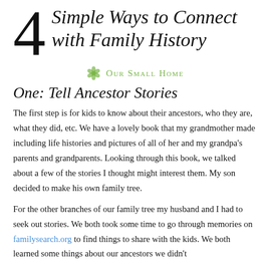4 Simple Ways to Connect with Family History
[Figure (logo): Flower/snowflake green logo icon with 'Our Small Home' text in green small caps]
One: Tell Ancestor Stories
The first step is for kids to know about their ancestors, who they are, what they did, etc. We have a lovely book that my grandmother made including life histories and pictures of all of her and my grandpa's parents and grandparents. Looking through this book, we talked about a few of the stories I thought might interest them. My son decided to make his own family tree.
For the other branches of our family tree my husband and I had to seek out stories. We both took some time to go through memories on familysearch.org to find things to share with the kids. We both learned some things about our ancestors we didn't